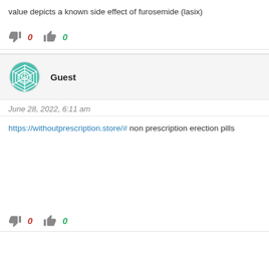value depicts a known side effect of furosemide (lasix)
👎 0   👍 0
Guest
June 28, 2022, 6:11 am
https://withoutprescription.store/# non prescription erection pills
👎 0   👍 0